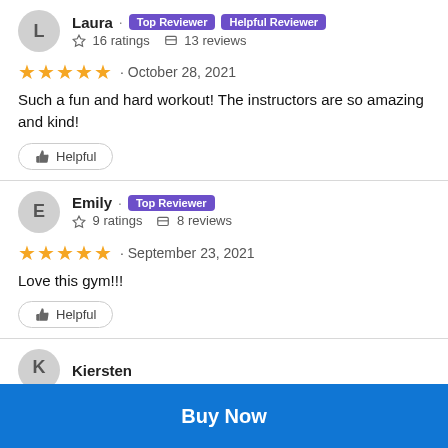Laura · Top Reviewer · Helpful Reviewer
☆ 16 ratings  ◻ 13 reviews
★★★★★ · October 28, 2021
Such a fun and hard workout! The instructors are so amazing and kind!
👍 Helpful
Emily · Top Reviewer
☆ 9 ratings  ◻ 8 reviews
★★★★★ · September 23, 2021
Love this gym!!!
👍 Helpful
Kiersten
Buy Now